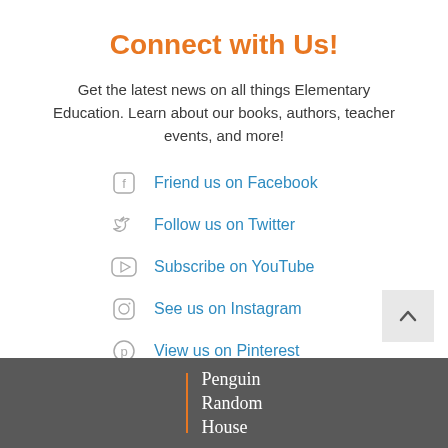Connect with Us!
Get the latest news on all things Elementary Education. Learn about our books, authors, teacher events, and more!
Friend us on Facebook
Follow us on Twitter
Subscribe on YouTube
See us on Instagram
View us on Pinterest
Penguin Random House